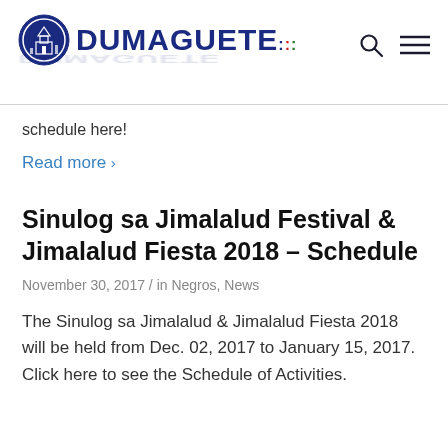DUMAGUETE
schedule here!
Read more >
Sinulog sa Jimalalud Festival & Jimalalud Fiesta 2018 – Schedule
November 30, 2017 / in Negros, News
The Sinulog sa Jimalalud & Jimalalud Fiesta 2018 will be held from Dec. 02, 2017 to January 15, 2017. Click here to see the Schedule of Activities.